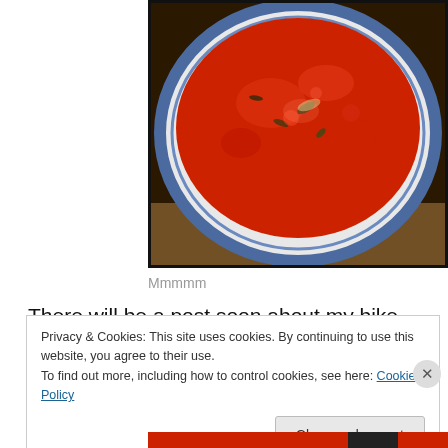[Figure (photo): A bowl of red tomato soup with herbs visible on the surface, in a white bowl with a decorative blue rim border, photographed from above with a dark background]
Mmmmm
There will be a post soon about my bike (oh, remember that old thing I was building?) and recent wanderings, but I leave you with a photo of K with sparks flying…for my seatpost.
Privacy & Cookies: This site uses cookies. By continuing to use this website, you agree to their use.
To find out more, including how to control cookies, see here: Cookie Policy
Close and accept